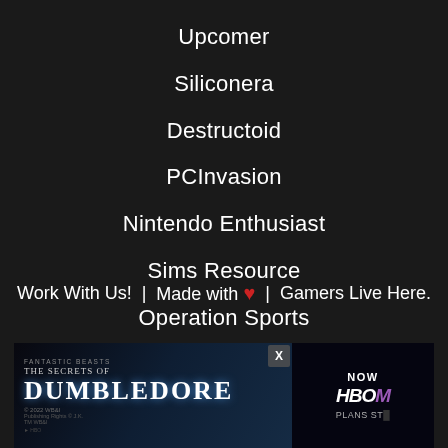Upcomer
Siliconera
Destructoid
PCInvasion
Nintendo Enthusiast
Sims Resource
Operation Sports
Work With Us!  |  Made with ❤  |  Gamers Live Here.
We use cookies and other data collection technologies to provide the best experience for our customers. You may request that your data not be shared with third parties here: Do Not Sell My Data.
[Figure (screenshot): Advertisement banner for Fantastic Beasts: The Secrets of Dumbledore on HBO Max, with an X close button and NOW / PLANS START text on the right side]